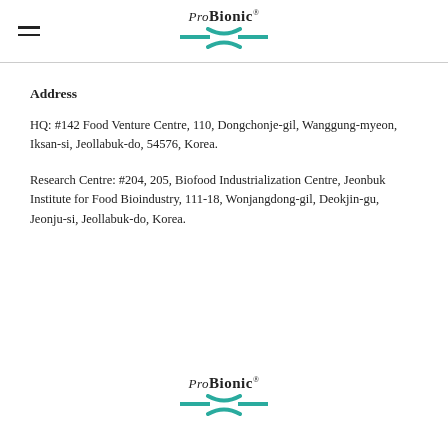[Figure (logo): Pro Bionic logo with italic 'Pro' and bold 'Bionic' text with registered mark, teal/green X-shaped swoosh symbol below]
Address
HQ: #142 Food Venture Centre, 110, Dongchonje-gil, Wanggung-myeon, Iksan-si, Jeollabuk-do, 54576, Korea.
Research Centre: #204, 205, Biofood Industrialization Centre, Jeonbuk Institute for Food Bioindustry, 111-18, Wonjangdong-gil, Deokjin-gu, Jeonju-si, Jeollabuk-do, Korea.
[Figure (logo): Pro Bionic logo with italic 'Pro' and bold 'Bionic' text with registered mark, teal/green X-shaped swoosh symbol below]